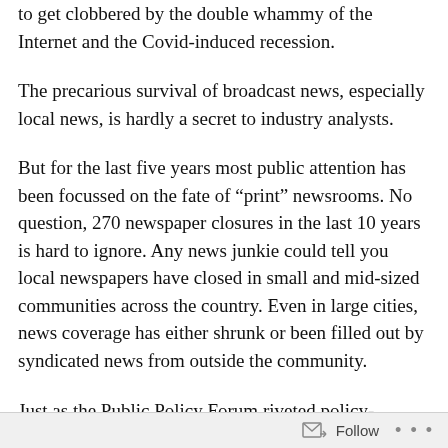to get clobbered by the double whammy of the Internet and the Covid-induced recession.
The precarious survival of broadcast news, especially local news, is hardly a secret to industry analysts.
But for the last five years most public attention has been focussed on the fate of “print” newsrooms. No question, 270 newspaper closures in the last 10 years is hard to ignore. Any news junkie could tell you local newspapers have closed in small and mid-sized communities across the country. Even in large cities, news coverage has either shrunk or been filled out by syndicated news from outside the community.
Just as the Public Policy Forum riveted policy-makers’ attention on the dire prospects of Canadian
Follow